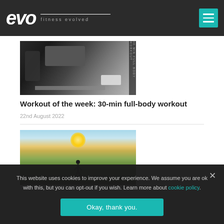evo fitness evolved
[Figure (photo): Man exercising on gym equipment, full-body workout photo with vertical text overlay reading '30-MIN FULL BODY WORKOUT']
Workout of the week: 30-min full-body workout
22nd August 2022
[Figure (photo): Woman in athletic wear standing on a hillside overlooking a sunny landscape, viewed from behind]
This website uses cookies to improve your experience. We assume you are ok with this, but you can opt-out if you wish. Learn more about cookie policy.
Okay, thank you.